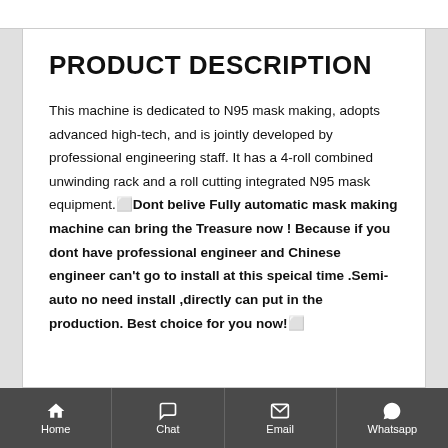PRODUCT DESCRIPTION
This machine is dedicated to N95 mask making, adopts advanced high-tech, and is jointly developed by professional engineering staff. It has a 4-roll combined unwinding rack and a roll cutting integrated N95 mask equipment.▀Dont belive Fully automatic mask making machine can bring the Treasure now ! Because if you dont have professional engineer and Chinese engineer can’t go to install at this speical time .Semi-auto no need install ,directly can put in the production. Best choice for you now!▀
Home  Chat  Email  Whatsapp